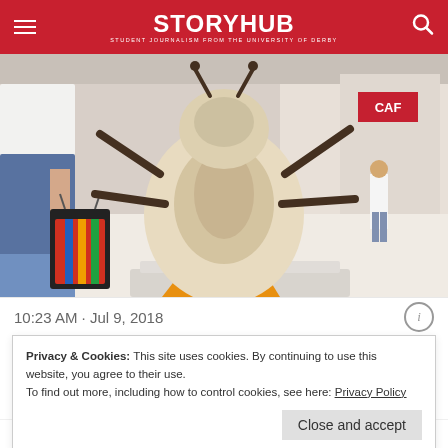StoryHub — Student Journalism from the University of Derby
[Figure (photo): A large bug sculpture on a white pedestal in a shopping mall, with a person carrying a colorful bag visible on the left and a café store sign in the background]
10:23 AM · Jul 9, 2018
Privacy & Cookies: This site uses cookies. By continuing to use this website, you agree to their use.
To find out more, including how to control cookies, see here: Privacy Policy
Close and accept
The Big Bugs on Tour Campaign is in Derby as part of a